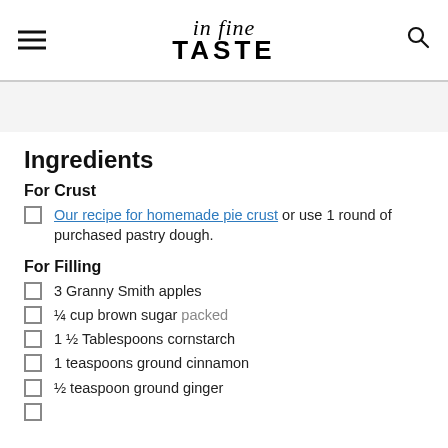in fine TASTE
Ingredients
For Crust
Our recipe for homemade pie crust or use 1 round of purchased pastry dough.
For Filling
3 Granny Smith apples
¼ cup brown sugar packed
1 ½ Tablespoons cornstarch
1 teaspoons ground cinnamon
½ teaspoon ground ginger